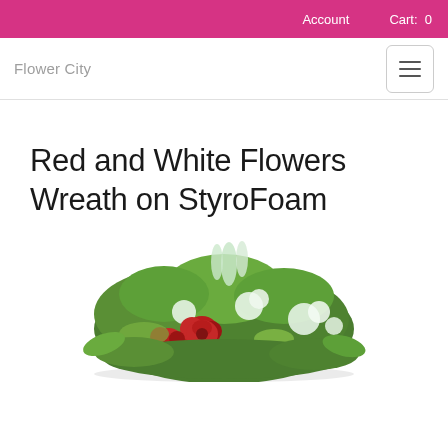Account   Cart: 0
Flower City
Red and White Flowers Wreath on StyroFoam
[Figure (photo): A floral wreath arrangement featuring red and white flowers with green foliage on a styrofoam base, viewed from slightly above at an angle.]